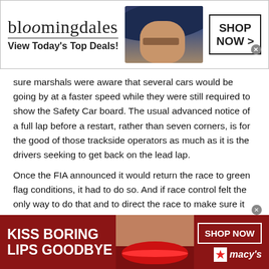[Figure (screenshot): Bloomingdale's advertisement banner: logo text 'bloomingdales', tagline 'View Today's Top Deals!', model with large hat, 'SHOP NOW >' button with border]
sure marshals were aware that several cars would be going by at a faster speed while they were still required to show the Safety Car board. The usual advanced notice of a full lap before a restart, rather than seven corners, is for the good of those trackside operators as much as it is the drivers seeking to get back on the lead lap.
Once the FIA announced it would return the race to green flag conditions, it had to do so. And if race control felt the only way to do that and to direct the race to make sure it concluded safely and uniformly was to let five cars un-lap themselves, then it was doing its job correctly, albeit with direct interference in the
[Figure (screenshot): Macy's advertisement banner with dark red background: 'KISS BORING LIPS GOODBYE' text, model with red lips, 'SHOP NOW' button, Macy's star logo]